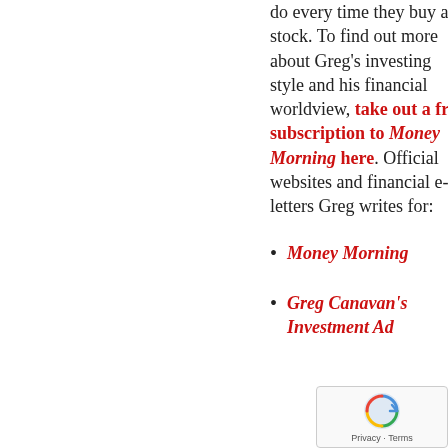do every time they buy a stock. To find out more about Greg's investing style and his financial worldview, take out a free subscription to Money Morning here. Official websites and financial e-letters Greg writes for:
Money Morning
Greg Canavan's Investment Ad...